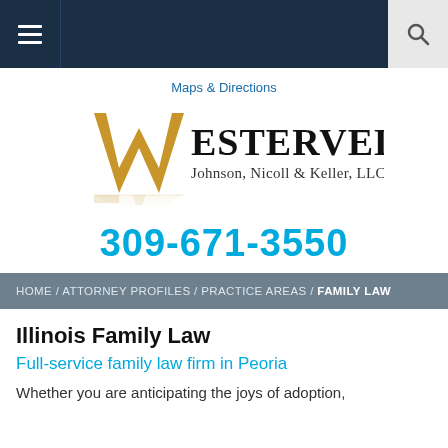Navigation bar with hamburger menu and search button
Maps & Directions
[Figure (logo): Westervelt Johnson, Nicoll & Keller, LLC law firm logo with a golden W and serif text]
309-671-3550
HOME / ATTORNEY PROFILES / PRACTICE AREAS / FAMILY LAW
Illinois Family Law
Full-service family law firm in Peoria
Whether you are anticipating the joys of adoption,